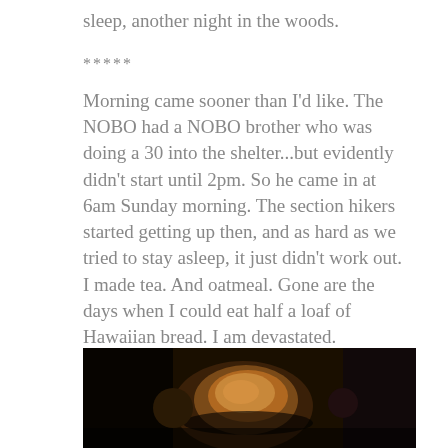sleep, another night in the woods.
*****
Morning came sooner than I'd like. The NOBO had a NOBO brother who was doing a 30 into the shelter...but evidently didn't start until 2pm. So he came in at 6am Sunday morning. The section hikers started getting up then, and as hard as we tried to stay asleep, it just didn't work out. I made tea. And oatmeal. Gone are the days when I could eat half a loaf of Hawaiian bread. I am devastated.
[Figure (photo): Dark photograph showing bread or food items on a dark background]